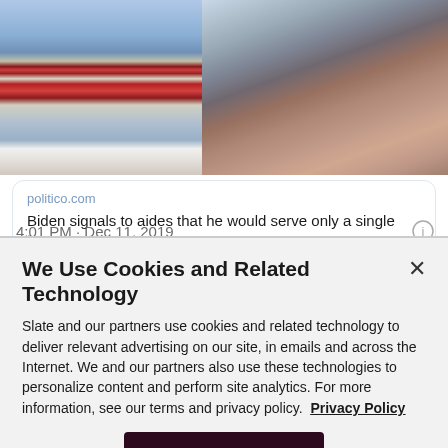[Figure (photo): Screenshot of a tweet showing a photo of a man speaking into a microphone against an American flag background, with a linked article card from politico.com]
politico.com
Biden signals to aides that he would serve only a single term
4:01 PM · Dec 11, 2019
We Use Cookies and Related Technology
Slate and our partners use cookies and related technology to deliver relevant advertising on our site, in emails and across the Internet. We and our partners also use these technologies to personalize content and perform site analytics. For more information, see our terms and privacy policy.  Privacy Policy
OK